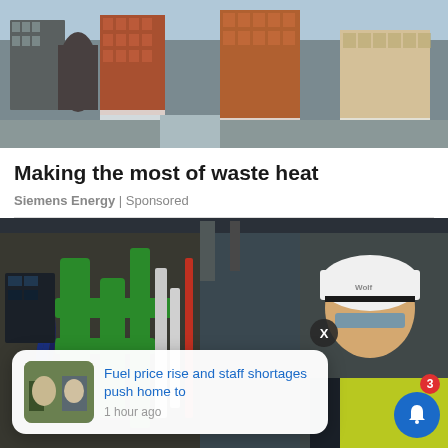[Figure (photo): Aerial view of city buildings with brick facades and snow on rooftops]
Making the most of waste heat
Siemens Energy | Sponsored
[Figure (photo): Industrial facility interior with green pipes and worker wearing white hard hat labeled Wolf]
Fuel price rise and staff shortages push home to
1 hour ago